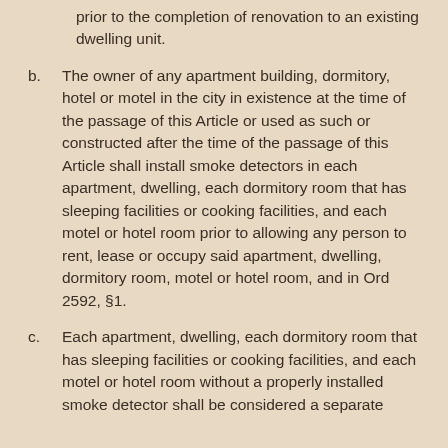prior to the completion of renovation to an existing dwelling unit.
b. The owner of any apartment building, dormitory, hotel or motel in the city in existence at the time of the passage of this Article or used as such or constructed after the time of the passage of this Article shall install smoke detectors in each apartment, dwelling, each dormitory room that has sleeping facilities or cooking facilities, and each motel or hotel room prior to allowing any person to rent, lease or occupy said apartment, dwelling, dormitory room, motel or hotel room, and in Ord 2592, §1.
c. Each apartment, dwelling, each dormitory room that has sleeping facilities or cooking facilities, and each motel or hotel room without a properly installed smoke detector shall be considered a separate violation, and in Ord 2592, §1.